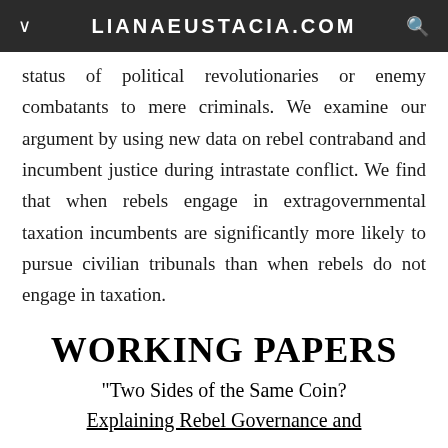LIANAEUSTACIA.COM
status of political revolutionaries or enemy combatants to mere criminals. We examine our argument by using new data on rebel contraband and incumbent justice during intrastate conflict. We find that when rebels engage in extragovernmental taxation incumbents are significantly more likely to pursue civilian tribunals than when rebels do not engage in taxation.
WORKING PAPERS
"Two Sides of the Same Coin? Explaining Rebel Governance and